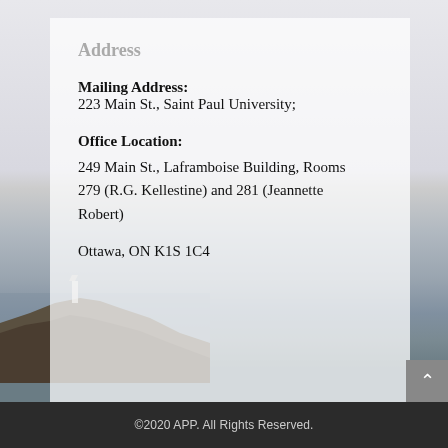Address
Mailing Address:
223 Main St., Saint Paul University;
Office Location:
249 Main St., Laframboise Building, Rooms 279 (R.G. Kellestine) and 281 (Jeannette Robert)
Ottawa, ON K1S 1C4
©2020 APP. All Rights Reserved.